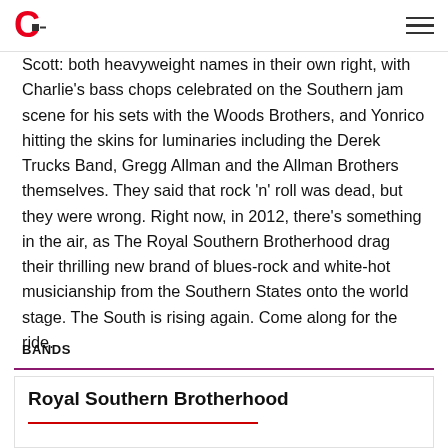Crossroads website header with logo and navigation menu
Scott: both heavyweight names in their own right, with Charlie's bass chops celebrated on the Southern jam scene for his sets with the Woods Brothers, and Yonrico hitting the skins for luminaries including the Derek Trucks Band, Gregg Allman and the Allman Brothers themselves. They said that rock 'n' roll was dead, but they were wrong. Right now, in 2012, there's something in the air, as The Royal Southern Brotherhood drag their thrilling new brand of blues-rock and white-hot musicianship from the Southern States onto the world stage. The South is rising again. Come along for the ride.
BANDS
Royal Southern Brotherhood